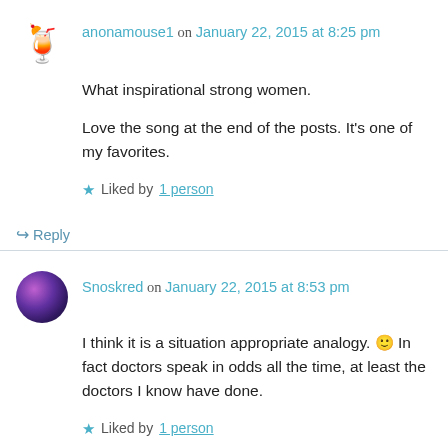anonamouse1 on January 22, 2015 at 8:25 pm
What inspirational strong women.
Love the song at the end of the posts. It's one of my favorites.
Liked by 1 person
Reply
Snoskred on January 22, 2015 at 8:53 pm
I think it is a situation appropriate analogy. 🙂 In fact doctors speak in odds all the time, at least the doctors I know have done.
Liked by 1 person